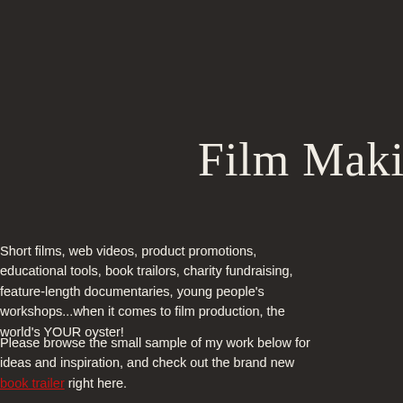Film Makin
Short films, web videos, product promotions, educational tools, book trailors, charity fundraising, feature-length documentaries, young people's workshops...when it comes to film production, the world's YOUR oyster!
Please browse the small sample of my work below for ideas and inspiration, and check out the brand new book trailer right here.